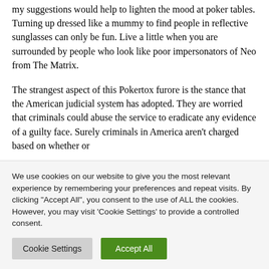my suggestions would help to lighten the mood at poker tables. Turning up dressed like a mummy to find people in reflective sunglasses can only be fun. Live a little when you are surrounded by people who look like poor impersonators of Neo from The Matrix.
The strangest aspect of this Pokertox furore is the stance that the American judicial system has adopted. They are worried that criminals could abuse the service to eradicate any evidence of a guilty face. Surely criminals in America aren't charged based on whether or
We use cookies on our website to give you the most relevant experience by remembering your preferences and repeat visits. By clicking "Accept All", you consent to the use of ALL the cookies. However, you may visit 'Cookie Settings' to provide a controlled consent.